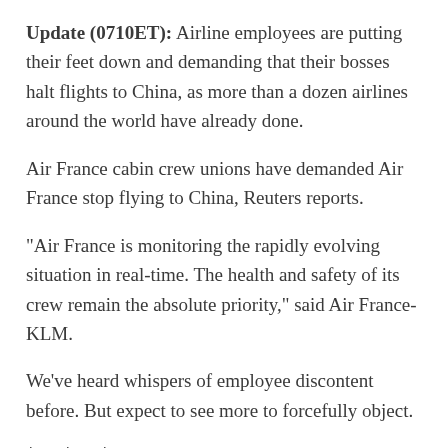Update (0710ET): Airline employees are putting their feet down and demanding that their bosses halt flights to China, as more than a dozen airlines around the world have already done.
Air France cabin crew unions have demanded Air France stop flying to China, Reuters reports.
“Air France is monitoring the rapidly evolving situation in real-time. The health and safety of its crew remain the absolute priority,” said Air France-KLM.
We’ve heard whispers of employee discontent before. But expect to see more to forcefully object.
* * *
National health officials in Beijing say that their...